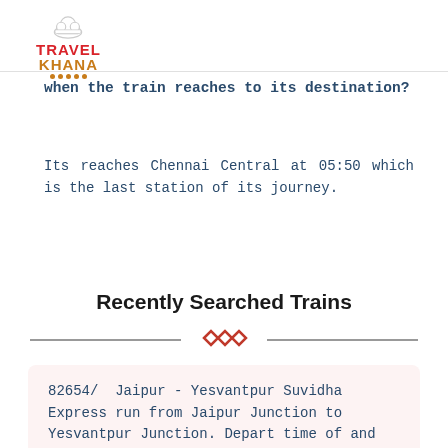TravelKhana logo
when the train reaches to its destination?
Its reaches Chennai Central at 05:50 which is the last station of its journey.
Recently Searched Trains
82654/ Jaipur - Yesvantpur Suvidha Express run from Jaipur Junction to Yesvantpur Junction. Depart time of and arrival time of 17:45. Train runs on following days (Saturday)